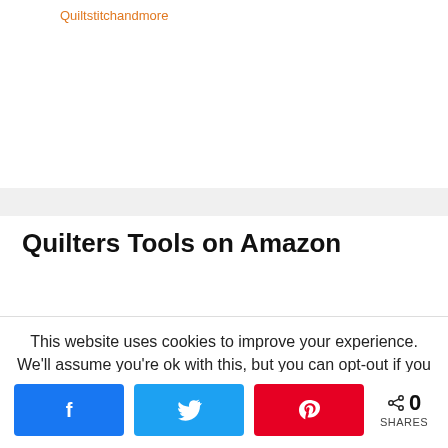Quiltstitchandmore
Quilters Tools on Amazon
This website uses cookies to improve your experience. We'll assume you're ok with this, but you can opt-out if you wish.
0 SHARES